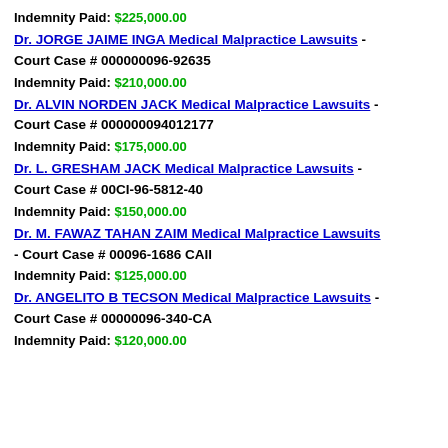Indemnity Paid: $225,000.00
Dr. JORGE JAIME INGA Medical Malpractice Lawsuits - Court Case # 000000096-92635
Indemnity Paid: $210,000.00
Dr. ALVIN NORDEN JACK Medical Malpractice Lawsuits - Court Case # 000000094012177
Indemnity Paid: $175,000.00
Dr. L. GRESHAM JACK Medical Malpractice Lawsuits - Court Case # 00CI-96-5812-40
Indemnity Paid: $150,000.00
Dr. M. FAWAZ TAHAN ZAIM Medical Malpractice Lawsuits - Court Case # 00096-1686 CAIl
Indemnity Paid: $125,000.00
Dr. ANGELITO B TECSON Medical Malpractice Lawsuits - Court Case # 00000096-340-CA
Indemnity Paid: $120,000.00